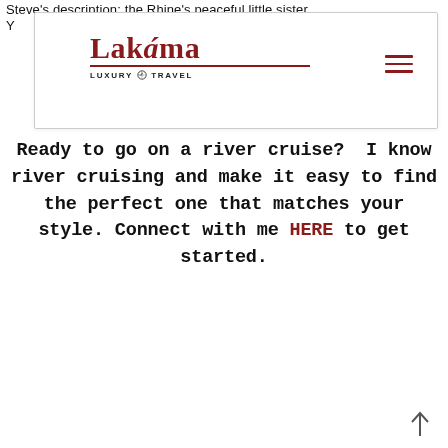Steve's description: the Rhine's peaceful little sister.
Y
[Figure (logo): Lakáma Luxury Travel logo with compass icon, dark red serif wordmark and uppercase sans-serif tagline, plus hamburger menu icon]
Ready to go on a river cruise?  I know river cruising and make it easy to find the perfect one that matches your style. Connect with me HERE to get started.